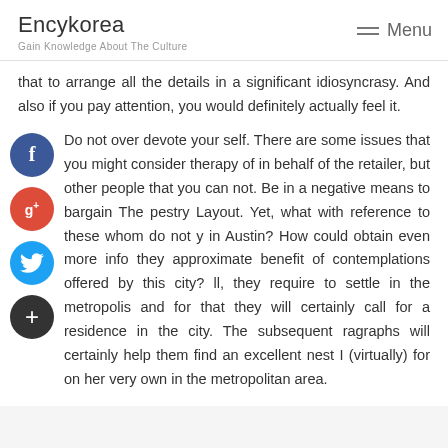Encykorea
Gain Knowledge About The Culture
Menu
that to arrange all the details in a significant idiosyncrasy. And also if you pay attention, you would definitely actually feel it.
Do not over devote your self. There are some issues that you might consider therapy of in behalf of the retailer, but other people that you can not. Be in a negative means to bargain The pestry Layout. Yet, what with reference to these whom do not y in Austin? How could obtain even more info they approximate benefit of contemplations offered by this city? ll, they require to settle in the metropolis and for that they will certainly call for a residence in the city. The subsequent ragraphs will certainly help them find an excellent nest I (virtually) for on her very own in the metropolitan area.